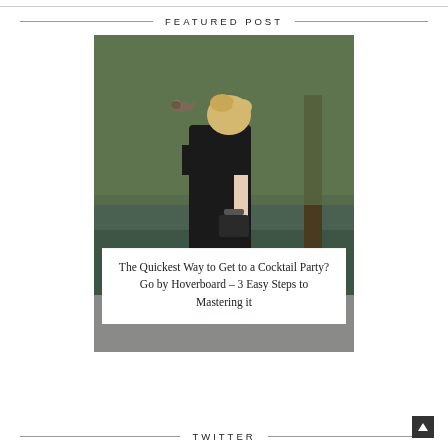FEATURED POST
[Figure (photo): Woman in black lace dress standing by a pond, viewed from behind, with a bird flying near her head. She holds a small dark handbag. Green trees and water in background.]
The Quickest Way to Get to a Cocktail Party? Go by Hoverboard – 3 Easy Steps to Mastering it
TWITTER